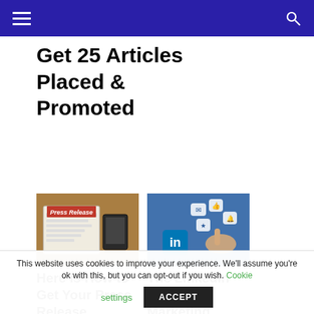Navigation bar with hamburger menu and search icon
Get 25 Articles Placed & Promoted
[Figure (photo): Photo of a tablet displaying a Press Release document on a desk]
[Figure (photo): Photo of a hand pointing at LinkedIn and social media icons in a digital interface]
Here is How to Get Your Press Release
The Linkedin Influencer Marketing
This website uses cookies to improve your experience. We'll assume you're ok with this, but you can opt-out if you wish. Cookie settings ACCEPT